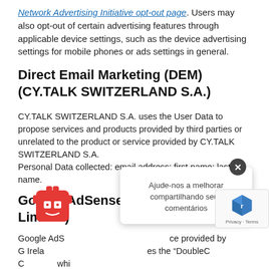Network Advertising Initiative opt-out page. Users may also opt-out of certain advertising features through applicable device settings, such as the device advertising settings for mobile phones or ads settings in general.
Direct Email Marketing (DEM) (CY.TALK SWITZERLAND S.A.)
CY.TALK SWITZERLAND S.A. uses the User Data to propose services and products provided by third parties or unrelated to the product or service provided by CY.TALK SWITZERLAND S.A.
Personal Data collected: email address; first name; last name.
Google AdSense (Google Ireland Limited)
Google AdSense is an advertising service provided by Google Ireland Limited. This service uses the "DoubleClick Cookies", which tracks User behavior concerning ads, products and services of CY.TALK SWITZERLAND S.A.
User behavior concerning ads, products and services of
Users may decide to disable all the DoubleClick Cookies by